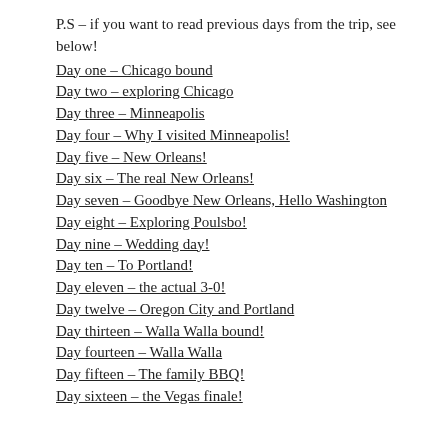P.S – if you want to read previous days from the trip, see below!
Day one – Chicago bound
Day two – exploring Chicago
Day three – Minneapolis
Day four – Why I visited Minneapolis!
Day five – New Orleans!
Day six – The real New Orleans!
Day seven – Goodbye New Orleans, Hello Washington
Day eight – Exploring Poulsbo!
Day nine – Wedding day!
Day ten – To Portland!
Day eleven – the actual 3-0!
Day twelve – Oregon City and Portland
Day thirteen – Walla Walla bound!
Day fourteen – Walla Walla
Day fifteen – The family BBQ!
Day sixteen – the Vegas finale!